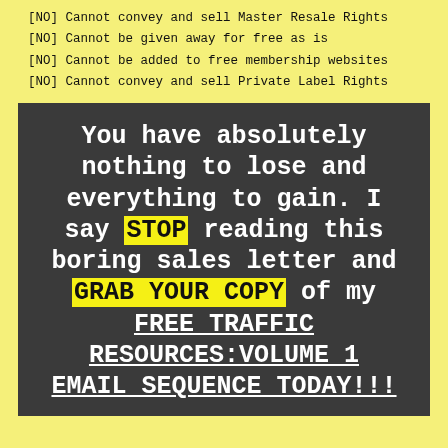[NO] Cannot convey and sell Master Resale Rights
[NO] Cannot be given away for free as is
[NO] Cannot be added to free membership websites
[NO] Cannot convey and sell Private Label Rights
You have absolutely nothing to lose and everything to gain. I say STOP reading this boring sales letter and GRAB YOUR COPY of my FREE TRAFFIC RESOURCES:VOLUME 1 EMAIL SEQUENCE TODAY!!!